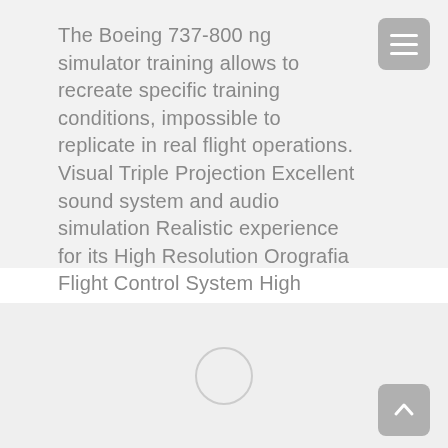The Boeing 737-800 ng simulator training allows to recreate specific training conditions, impossible to replicate in real flight operations. Visual Triple Projection Excellent sound system and audio simulation Realistic experience for its High Resolution Orografia Flight Control System High Resolution Sofware that perks the student is taught by an environment
[Figure (other): A light gray placeholder panel with a circular loading indicator in the center, and a gray scroll-to-top button in the bottom right corner.]